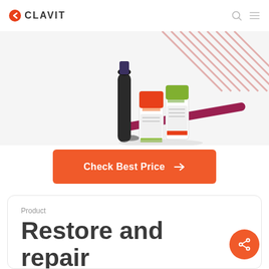CLAVIT
[Figure (photo): Product photo showing nail care items including two small bottles (one orange/red capped, one green capped), a dark dropper, and a dark pink nail file arranged together against a light background]
Check Best Price →
Product
Restore and repair